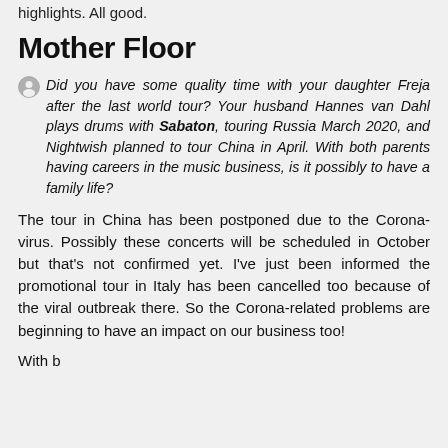highlights. All good.
Mother Floor
Did you have some quality time with your daughter Freja after the last world tour? Your husband Hannes van Dahl plays drums with Sabaton, touring Russia March 2020, and Nightwish planned to tour China in April. With both parents having careers in the music business, is it possibly to have a family life?
The tour in China has been postponed due to the Corona-virus. Possibly these concerts will be scheduled in October but that's not confirmed yet. I've just been informed the promotional tour in Italy has been cancelled too because of the viral outbreak there. So the Corona-related problems are beginning to have an impact on our business too!
With b...